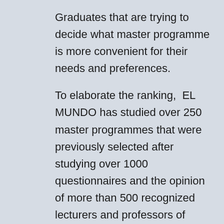Graduates that are trying to decide what master programme is more convenient for their needs and preferences.
To elaborate the ranking,  EL MUNDO has studied over 250 master programmes that were previously selected after studying over 1000 questionnaires and the opinion of more than 500 recognized lecturers and professors of Law.